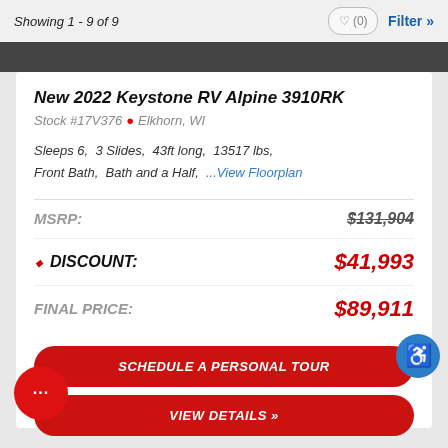Showing 1 - 9 of 9
New 2022 Keystone RV Alpine 3910RK
Stock #17V376  Elkhorn, WI
Sleeps 6,  3 Slides,  43ft long,  13517 lbs,  Front Bath,  Bath and a Half,  ...View Floorplan
| Label | Value |
| --- | --- |
| MSRP: | $131,904 |
| DISCOUNT: | $41,993 |
| FINAL PRICE: | $89,911 |
SCHEDULE A PERSONAL TOUR
VIEW DETAILS »